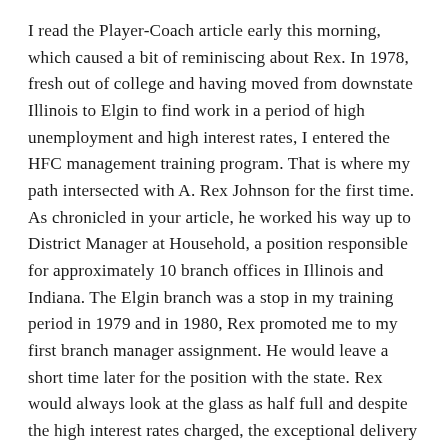I read the Player-Coach article early this morning, which caused a bit of reminiscing about Rex. In 1978, fresh out of college and having moved from downstate Illinois to Elgin to find work in a period of high unemployment and high interest rates, I entered the HFC management training program. That is where my path intersected with A. Rex Johnson for the first time. As chronicled in your article, he worked his way up to District Manager at Household, a position responsible for approximately 10 branch offices in Illinois and Indiana. The Elgin branch was a stop in my training period in 1979 and in 1980, Rex promoted me to my first branch manager assignment. He would leave a short time later for the position with the state. Rex would always look at the glass as half full and despite the high interest rates charged, the exceptional delivery of customer service enabled this company to thrive for many years.